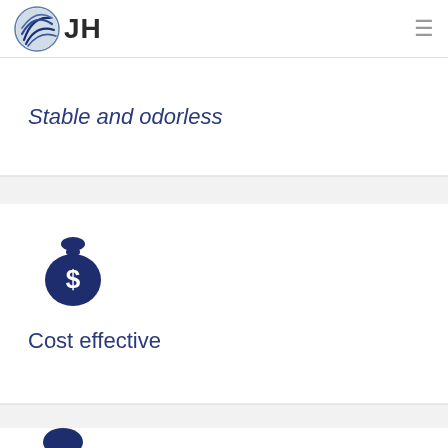JH
Stable and odorless
[Figure (illustration): Money bag icon with dollar sign, dark navy blue color]
Cost effective
[Figure (illustration): Construction worker / engineer icon with hard hat, dark navy blue color]